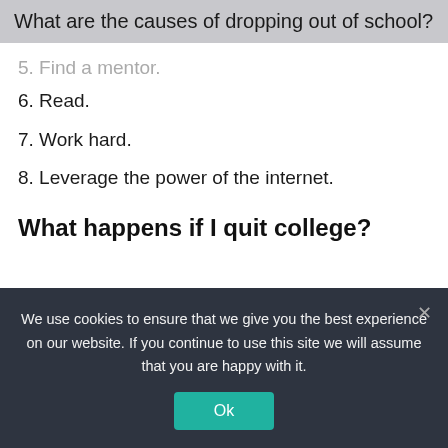What are the causes of dropping out of school?
5. Find a mentor.
6. Read.
7. Work hard.
8. Leverage the power of the internet.
What happens if I quit college?
If you simply stop going to class, you will have F's on your transcript. If you withdraw from classes, W's are better than F's. But if there is any chance that you can complete a semester you will have grades to carry with you if you
We use cookies to ensure that we give you the best experience on our website. If you continue to use this site we will assume that you are happy with it.